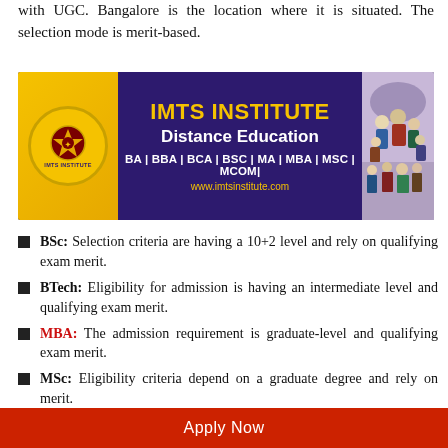with UGC. Bangalore is the location where it is situated. The selection mode is merit-based.
[Figure (illustration): IMTS Institute Distance Education banner advertisement showing logo, courses (BA, BBA, BCA, BSC, MA, MBA, MSC, MCOM) and website www.imtsinstitute.com]
BSc: Selection criteria are having a 10+2 level and rely on qualifying exam merit.
BTech: Eligibility for admission is having an intermediate level and qualifying exam merit.
MBA: The admission requirement is graduate-level and qualifying exam merit.
MSc: Eligibility criteria depend on a graduate degree and rely on merit.
Apply Now